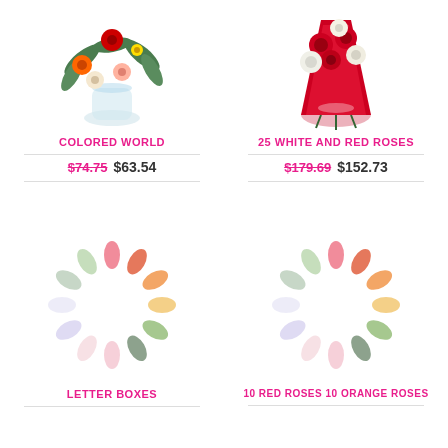[Figure (photo): Colorful flower bouquet in a glass vase with gerberas and greenery]
[Figure (photo): 25 white and red roses bouquet wrapped in red paper with ribbon]
COLORED WORLD
$74.75  $63.54
25 WHITE AND RED ROSES
$179.69  $152.73
[Figure (illustration): Loading spinner / colorful oval petals arranged in a circle]
[Figure (illustration): Loading spinner / colorful oval petals arranged in a circle]
LETTER BOXES
10 RED ROSES 10 ORANGE ROSES